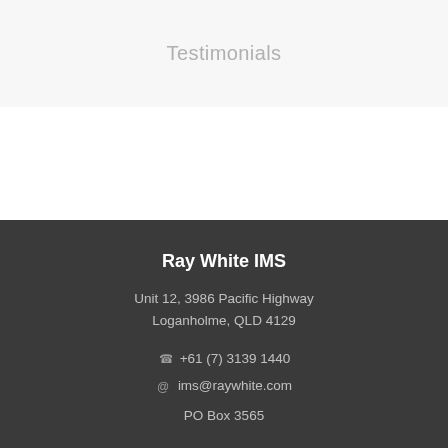Testimonials
Ray White IMS
Unit 12, 3986 Pacific Highway
Loganholme, QLD 4129
+61 (7) 3139 1440
ims@raywhite.com
PO Box 3565